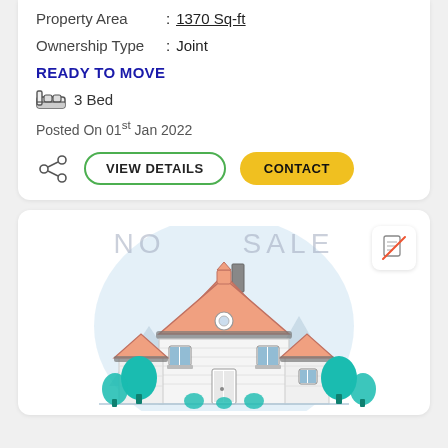Property Area : 1370 Sq-ft
Ownership Type : Joint
READY TO MOVE
3 Bed
Posted On 01st Jan 2022
VIEW DETAILS   CONTACT
[Figure (illustration): Illustration of a house/property with trees, watermark text 'NO SALE', and a document-crossed icon in the top right corner]